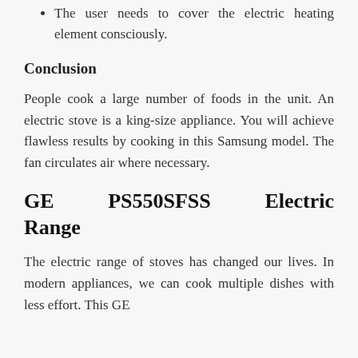The user needs to cover the electric heating element consciously.
Conclusion
People cook a large number of foods in the unit. An electric stove is a king-size appliance. You will achieve flawless results by cooking in this Samsung model. The fan circulates air where necessary.
GE PS550SFSS Electric Range
The electric range of stoves has changed our lives. In modern appliances, we can cook multiple dishes with less effort. This GE